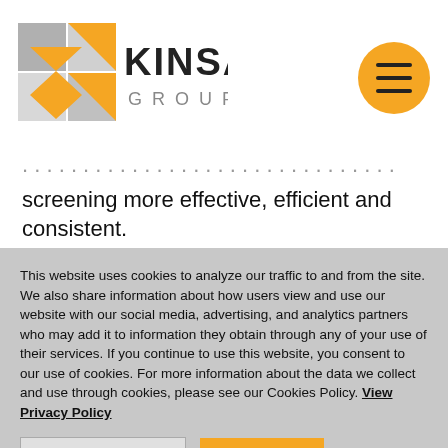[Figure (logo): Kinsa Group logo — geometric diamond/arrow shape in gold and gray with 'KINSA GROUP' text]
screening more effective, efficient and consistent. Furthermore, should a problem arise, your ability to show that you applied fair, consistent and documented screening processes will limit your legal exposure
This website uses cookies to analyze our traffic to and from the site. We also share information about how users view and use our website with our social media, advertising, and analytics partners who may add it to information they obtain through any of your use of their services. If you continue to use this website, you consent to our use of cookies. For more information about the data we collect and use through cookies, please see our Cookies Policy. View Privacy Policy
COOKIE SETTINGS   ACCEPT ALL   Cookies Policy